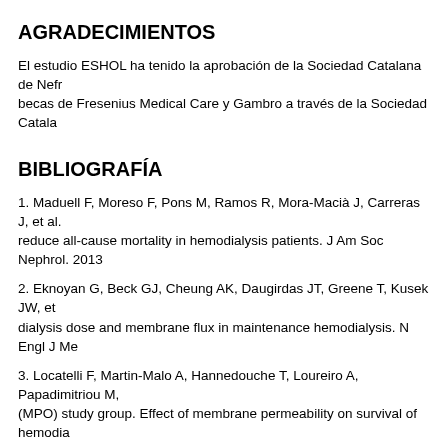AGRADECIMIENTOS
El estudio ESHOL ha tenido la aprobación de la Sociedad Catalana de Nefr... becas de Fresenius Medical Care y Gambro a través de la Sociedad Catala...
BIBLIOGRAFÍA
1. Maduell F, Moreso F, Pons M, Ramos R, Mora-Macià J, Carreras J, et al. reduce all-cause mortality in hemodialysis patients. J Am Soc Nephrol. 2013
2. Eknoyan G, Beck GJ, Cheung AK, Daugirdas JT, Greene T, Kusek JW, et dialysis dose and membrane flux in maintenance hemodialysis. N Engl J Me
3. Locatelli F, Martin-Malo A, Hannedouche T, Loureiro A, Papadimitriou M, ... (MPO) study group. Effect of membrane permeability on survival of hemodia... [ Links ]
4. Ok E, Asci G, Toz H, Ok ES, Kircelli F, Yilmaz M, et al. Mortality and cardi... compared with high-flux dialysis: Results from the Turkish Online Haemodia... 202. [ Links ]
5. Higgins J, Green S. Intention-to-treat issues. En: Cochrane Collaboration interventions. London, Handbook editors: Cochrane Collaboration; 2008. [ L
6. Nuesch E, Trelle S, Reichenbach S, Rutjes AWS, Bürgi E, Scherer M, et